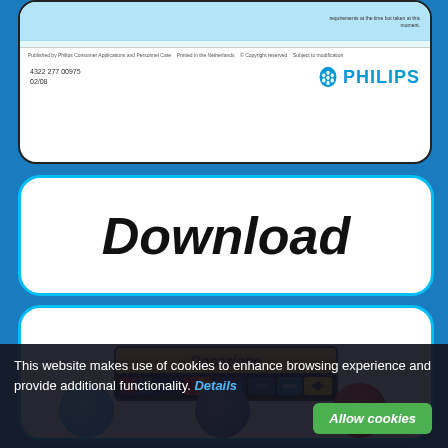[Figure (screenshot): Partial view of a Philips document card showing footer with document number 4322 277 00975, date 02/08, Philips shield logo, and PHILIPS wordmark in blue]
[Figure (screenshot): Download button card with large bold italic text 'Download' inside a white rounded rectangle with cyan border]
[Figure (screenshot): Donation button card showing a PayPal-style Donazione button with payment card logos (Maestro, Visa, MasterCard, PayPal, etc.) inside a white rounded rectangle with cyan border]
[Figure (screenshot): Partial social media circles visible at bottom (Twitter blue, Facebook dark blue, YouTube red)]
This website makes use of cookies to enhance browsing experience and provide additional functionality. Details
Allow cookies